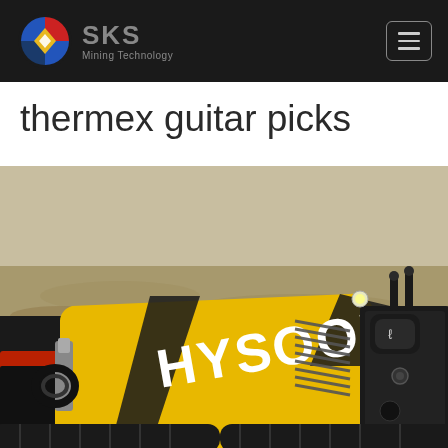[Figure (logo): SKS Mining Technology logo with circular icon (red, blue, yellow diamond) and company name]
thermex guitar picks
[Figure (photo): Yellow and black HYSOON mini skid steer loader machine photographed outdoors on a dirt ground. The machine has HYSOON branded text on its yellow body with black ventilation slats and various hydraulic attachments.]